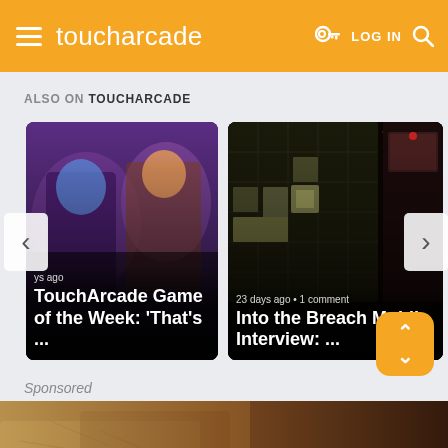toucharcade — LOG IN
ALSO ON TOUCHARCADE
[Figure (screenshot): TouchArcade website screenshot showing two article cards: 'TouchArcade Game of the Week: That's ...' and 'Into the Breach Mobile Interview: ...' with navigation arrows]
Sponsored